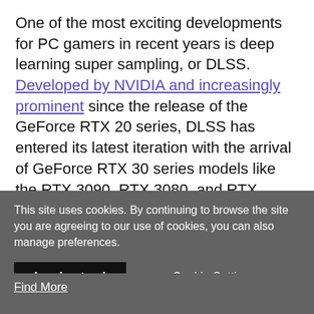One of the most exciting developments for PC gamers in recent years is deep learning super sampling, or DLSS. Developed by NVIDIA and increasingly prominent since the release of the GeForce RTX 20 series, DLSS has entered its latest iteration with the arrival of GeForce RTX 30 series models like the RTX 3090, RTX 3080, and RTX 3070.
Why is DLSS so important? Because it very effectively provides an all-in-one replacement for
This site uses cookies. By continuing to browse the site you are agreeing to our use of cookies, you can also manage preferences.
I understand
Cookie Setting
Find More